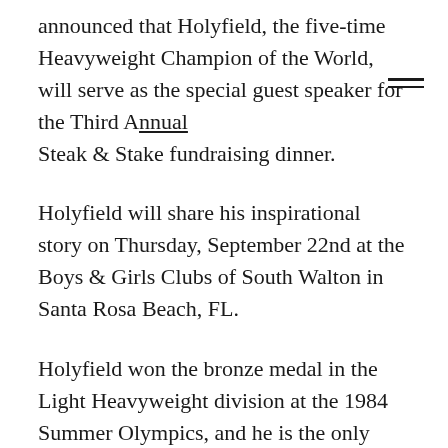announced that Holyfield, the five-time Heavyweight Champion of the World, will serve as the special guest speaker for the Third Annual Steak & Stake fundraising dinner.
Holyfield will share his inspirational story on Thursday, September 22nd at the Boys & Girls Clubs of South Walton in Santa Rosa Beach, FL.
Holyfield won the bronze medal in the Light Heavyweight division at the 1984 Summer Olympics, and he is the only boxer to win the heavyweight title five times. His life story began in Atmore, Ala. as the youngest of nine children. When he was four, his mother moved the family